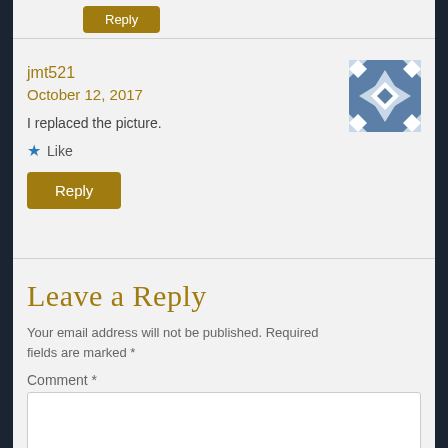Reply (button, top)
jmt521
October 12, 2017
[Figure (illustration): Avatar image: geometric quilt-pattern design in blue and white, square shape]
I replaced the picture.
★ Like
Reply (button)
Leave a Reply
Your email address will not be published. Required fields are marked *
Comment *